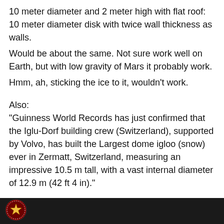10 meter diameter and 2 meter high with flat roof: 10 meter diameter disk with twice wall thickness as walls.
Would be about the same. Not sure work well on Earth, but with low gravity of Mars it probably work.
Hmm, ah, sticking the ice to it, wouldn’t work.
Also:
“Guinness World Records has just confirmed that the Iglu-Dorf building crew (Switzerland), supported by Volvo, has built the Largest dome igloo (snow) ever in Zermatt, Switzerland, measuring an impressive 10.5 m tall, with a vast internal diameter of 12.9 m (42 ft 4 in).”
https://tinyurl.com/y2ffnj2s
[Figure (photo): Bottom strip showing a dark background with Guinness World Records logo (golden star on black/dark red circular badge)]